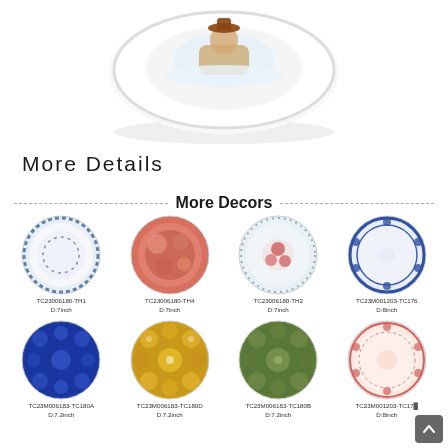[Figure (photo): White ceramic plate viewed from above at slight angle, showing illustrated character on plate surface, with white rim and shadow below]
More Details
More Decors
[Figure (photo): Grid of 8 decorative plates with product codes and sizes: TC23006180-TH1 D:7inch, TC23006180-TH4 D:7inch, TC23006180-TH2 D:7inch, TC23M001203-TC176 D:8inch, TC23M006183-TC180A D:7.2inch, TC23M006183-TC180D D:7.2inch, TC23M006183-TC180B D:7.2inch, TC23M001203-TC176 D:8inch]